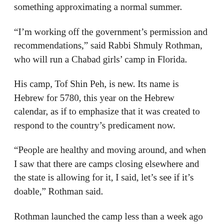something approximating a normal summer.
“I’m working off the government’s permission and recommendations,” said Rabbi Shmuly Rothman, who will run a Chabad girls’ camp in Florida.
His camp, Tof Shin Peh, is new. Its name is Hebrew for 5780, this year on the Hebrew calendar, as if to emphasize that it was created to respond to the country’s predicament now.
“People are healthy and moving around, and when I saw that there are camps closing elsewhere and the state is allowing for it, I said, let’s see if it’s doable,” Rothman said.
Rothman launched the camp less than a week ago and expects it to fill up quickly, well before the July 20 start date. Unlike other Chabad programs meant for a general